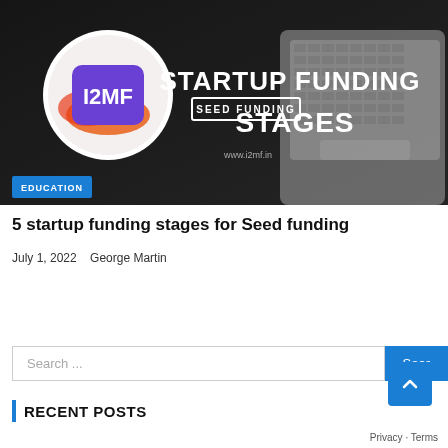[Figure (illustration): Banner image for blog post about startup funding stages. Dark background with a laptop keyboard visible. Circle logo with I2MF text in purple. Large white text reads 'STARTUP FUNDING STAGES' with a white outlined box containing 'SEED FUNDING'. Website URL www.i2mf.in shown. Blue badge with 'EDUCATION' text in lower left corner.]
5 startup funding stages for Seed funding
July 1, 2022   George Martin
Search ...
RECENT POSTS